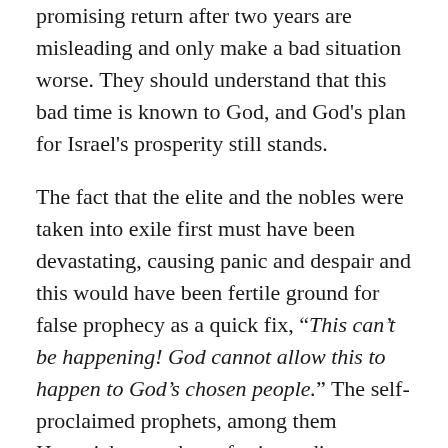promising return after two years are misleading and only make a bad situation worse. They should understand that this bad time is known to God, and God's plan for Israel's prosperity still stands.
The fact that the elite and the nobles were taken into exile first must have been devastating, causing panic and despair and this would have been fertile ground for false prophecy as a quick fix, “This can’t be happening! God cannot allow this to happen to God’s chosen people.” The self-proclaimed prophets, among them Hananiah, gave hope for immediate restoration Jeremiah 27:16b quotes Hananiah who says, “Very soon now the articles from the house of the Lord will be brought back from Babylon.” (Chapter 28:2-4) His timeframe for